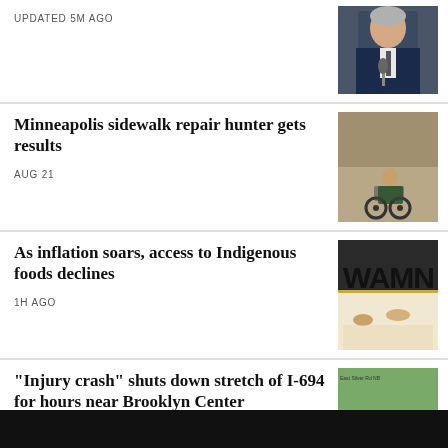UPDATED 5M AGO
[Figure (photo): Older man in suit at microphone]
Minneapolis sidewalk repair hunter gets results
AUG 21
[Figure (photo): Person in wheelchair on sidewalk]
As inflation soars, access to Indigenous foods declines
1H AGO
[Figure (photo): Restaurant interior with WAMN sign]
"Injury crash" shuts down stretch of I-694 for hours near Brooklyn Center
11H AGO
[Figure (photo): Aerial highway view near Brooklyn Center]